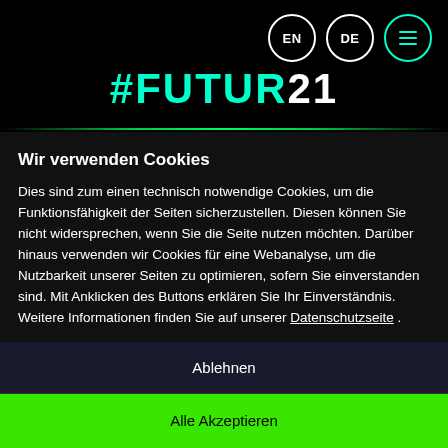#FUTUR21
Wir verwenden Cookies
Dies sind zum einen technisch notwendige Cookies, um die Funktionsfähigkeit der Seiten sicherzustellen. Diesen können Sie nicht widersprechen, wenn Sie die Seite nutzen möchten. Darüber hinaus verwenden wir Cookies für eine Webanalyse, um die Nutzbarkeit unserer Seiten zu optimieren, sofern Sie einverstanden sind. Mit Anklicken des Buttons erklären Sie Ihr Einverständnis. Weitere Informationen finden Sie auf unserer Datenschutzseite .
Ablehnen
Alle Akzeptieren